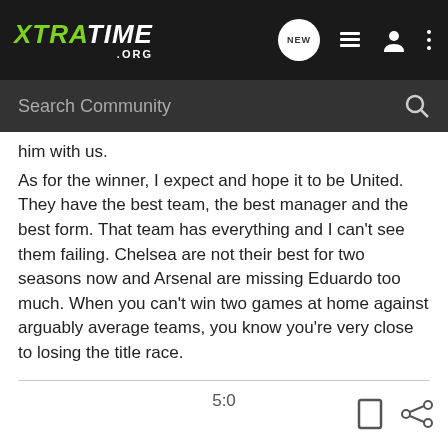XTRATIME .ORG
him with us.
As for the winner, I expect and hope it to be United. They have the best team, the best manager and the best form. That team has everything and I can't see them failing. Chelsea are not their best for two seasons now and Arsenal are missing Eduardo too much. When you can't win two games at home against arguably average teams, you know you're very close to losing the title race.
5:0